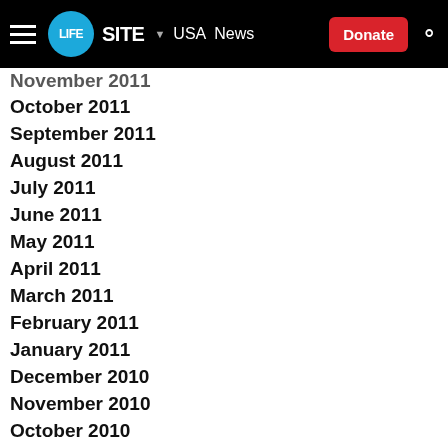LifeSite — USA News — Donate
November 2011
October 2011
September 2011
August 2011
July 2011
June 2011
May 2011
April 2011
March 2011
February 2011
January 2011
December 2010
November 2010
October 2010
September 2010
August 2010
July 2010